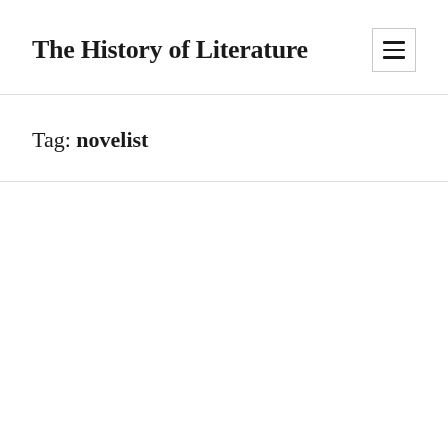The History of Literature
Tag: novelist